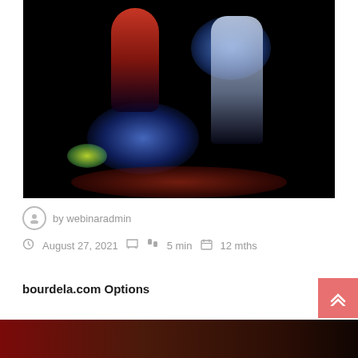[Figure (photo): Dark nightclub/party scene with colorful blue and red stage lighting, two figures visible, one in red/pink outfit and one in white, with a glowing disc object at bottom left]
by webinaradmin
August 27, 2021  5 min  12 mths
bourdela.com Options
[Figure (photo): Partial bottom image strip showing a dark reddish-brown scene]